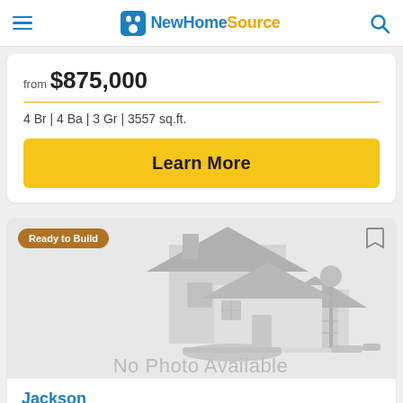NewHomeSource
from $875,000
4 Br | 4 Ba | 3 Gr | 3557 sq.ft.
Learn More
[Figure (illustration): House placeholder illustration with 'No Photo Available' text overlay, showing a gray stylized house graphic]
Ready to Build
Jackson
at Perry Farms